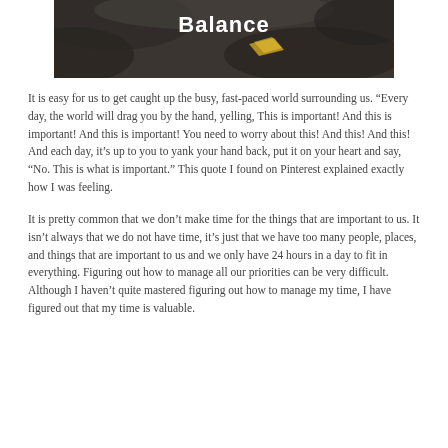[Figure (photo): Dark textured photo of rocks/stones with the word 'Balance' written in white bold text and a small golden/yellow shape visible]
It is easy for us to get caught up the busy, fast-paced world surrounding us. “Every day, the world will drag you by the hand, yelling, This is important! And this is important! And this is important! You need to worry about this! And this! And this! And each day, it’s up to you to yank your hand back, put it on your heart and say, “No. This is what is important.” This quote I found on Pinterest explained exactly how I was feeling.
It is pretty common that we don’t make time for the things that are important to us. It isn’t always that we do not have time, it’s just that we have too many people, places, and things that are important to us and we only have 24 hours in a day to fit in everything. Figuring out how to manage all our priorities can be very difficult. Although I haven’t quite mastered figuring out how to manage my time, I have figured out that my time is valuable.